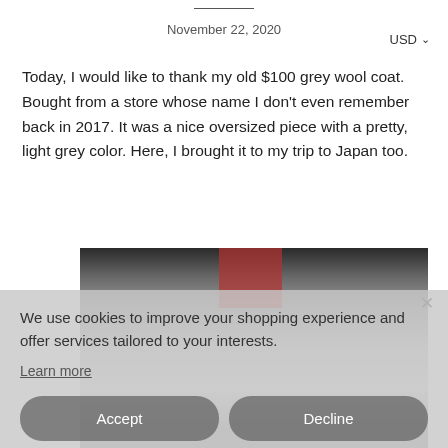November 22, 2020
USD ∨
Today, I would like to thank my old $100 grey wool coat. Bought from a store whose name I don't even remember back in 2017. It was a nice oversized piece with a pretty, light grey color. Here, I brought it to my trip to Japan too.
[Figure (photo): Person wearing a light grey oversized wool coat, photographed at what appears to be a Japanese location. The image is partially obscured by a cookie consent overlay.]
We use cookies to improve your shopping experience and offer services tailored to your interests.
Learn more
Accept
Decline